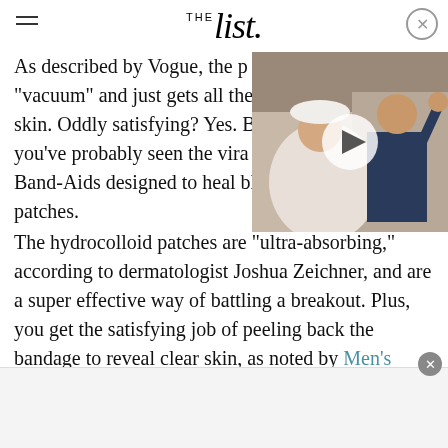THE list
As described by Vogue, the p... "vacuum" and just gets all the... skin. Oddly satisfying? Yes. B... you've probably seen the vira... Band-Aids designed to heal blisters as pimple patches. The hydrocolloid patches are "ultra-absorbing," according to dermatologist Joshua Zeichner, and are a super effective way of battling a breakout. Plus, you get the satisfying job of peeling back the bandage to reveal clear skin, as noted by Men's Health.
[Figure (photo): Wedding photo of a couple — a woman in a white wedding dress and veil, and a man in a military uniform, both waving, with a video play button overlay]